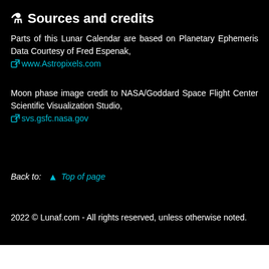🧪 Sources and credits
Parts of this Lunar Calendar are based on Planetary Ephemeris Data Courtesy of Fred Espenak, www.Astropixels.com
Moon phase image credit to NASA/Goddard Space Flight Center Scientific Visualization Studio, svs.gsfc.nasa.gov
Back to: ↑ Top of page
2022 © Lunaf.com - All rights reserved, unless otherwise noted.